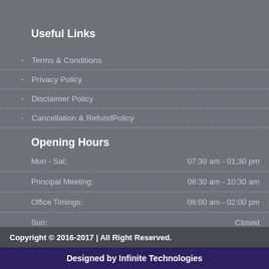Useful Links
Terms & Conditions
Privacy Policy
Disclaimer Policy
Cancellation & RefundPolicy
Opening Hours
Mon - Sat:	07:30 am - 01:30 pm
Principal Meeting:	08:30 am - 10:30 am
Office Timings:	08:00 am - 02:00 pm
Sun:	Closed
Copyright © 2016-2017 | All Right Reserved.
Designed by Infinite Technologies